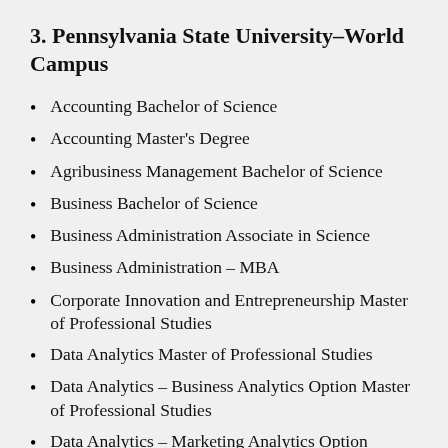3. Pennsylvania State University–World Campus
Accounting Bachelor of Science
Accounting Master's Degree
Agribusiness Management Bachelor of Science
Business Bachelor of Science
Business Administration Associate in Science
Business Administration – MBA
Corporate Innovation and Entrepreneurship Master of Professional Studies
Data Analytics Master of Professional Studies
Data Analytics – Business Analytics Option Master of Professional Studies
Data Analytics – Marketing Analytics Option Master of Professional Studies